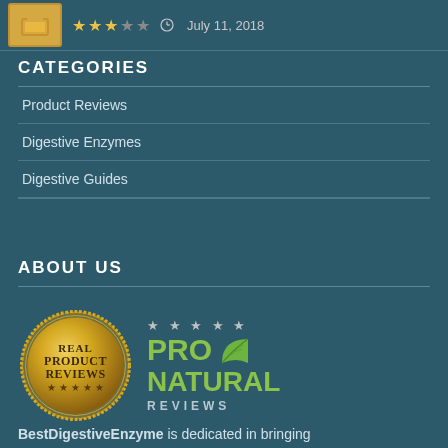[Figure (other): Product thumbnail image (jar/supplement) with 3-star rating and date July 11, 2018]
CATEGORIES
Product Reviews
Digestive Enzymes
Digestive Guides
ABOUT US
[Figure (logo): Real Product Reviews gold seal badge on left, Pro Natural Reviews logo with green leaf on right]
BestDigestiveEnzyme is dedicated in bringing